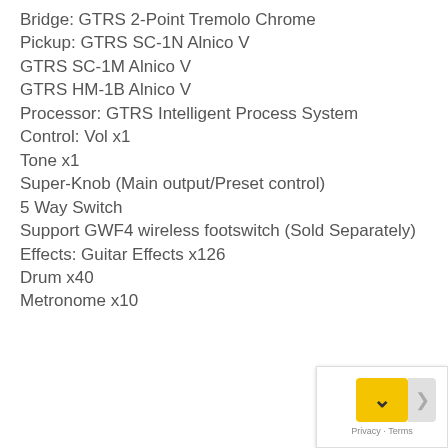Bridge: GTRS 2-Point Tremolo Chrome
Pickup: GTRS SC-1N Alnico V
GTRS SC-1M Alnico V
GTRS HM-1B Alnico V
Processor: GTRS Intelligent Process System
Control: Vol x1
Tone x1
Super-Knob (Main output/Preset control)
5 Way Switch
Support GWF4 wireless footswitch (Sold Separately)
Effects: Guitar Effects x126
Drum x40
Metronome x10